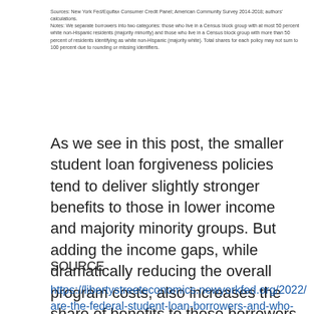Sources: New York Fed/Equifax Consumer Credit Panel; American Community Survey 2014-2018; authors' calculations.
Notes: We separate borrowers into two categories: those who live in a Census block group with at most 50 percent white non-Hispanic residents (majority minority) and those who live in a Census block group with more than 50 percent of residents identifying as white non-Hispanic (majority white). Total shares for each policy may not sum to 100 percent due to rounding or missing identifiers.
As we see in this post, the smaller student loan forgiveness policies tend to deliver slightly stronger benefits to those in lower income and majority minority groups. But adding the income gaps, while dramatically reducing the overall program costs, also increases the share of benefits to those borrowers who are most likely to face financial struggles.
SOURCE
https://libertystreeteconomics.newyorkfed.org/2022/are-the-federal-student-loan-borrowers-and-who-